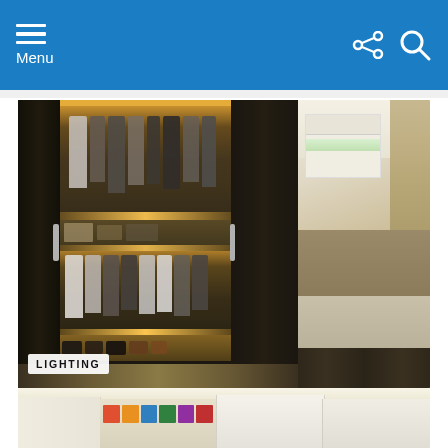Menu
[Figure (photo): Two-panel image collage: left shows an illuminated dark wood sliding door wardrobe/closet with glowing LED strip lights on shelves, clothes hanging, and shoes on bottom shelf; right shows a modern bedroom interior with warm lighting, a bed, window with blinds, and textured wall. A white 'LIGHTING' badge overlays the bottom-left corner.]
Types Of Closet Light Fixtures (Design Styles)
[Figure (photo): Partial bottom image showing a bright, light-colored walk-in closet interior with white/cream shelving, a bookshelf with colorful books, and built-in cabinetry with warm overhead lighting.]